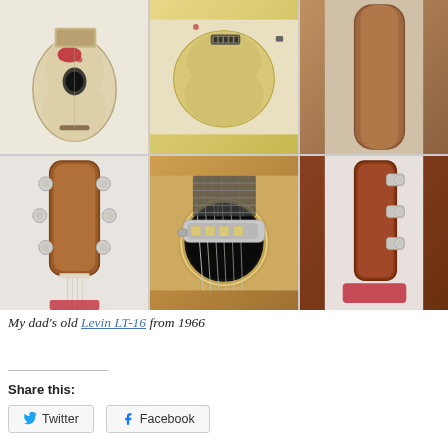[Figure (photo): 6-panel photo grid of a vintage 1966 Levin LT-16 guitar. Top row: front view of guitar body, back view of guitar body, side view. Bottom row: close-up of guitar headstock (front), close-up of soundhole with metal tailpiece and strings, close-up of headstock (back/side) with tuning pegs.]
My dad's old Levin LT-16 from 1966
Share this: